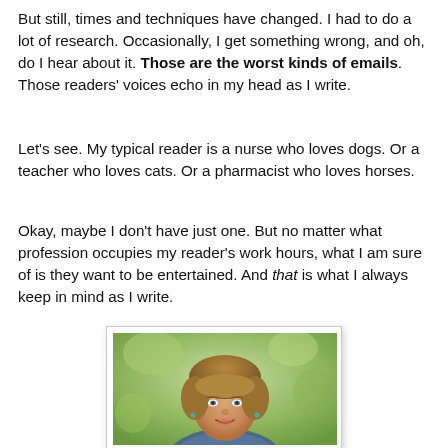But still, times and techniques have changed. I had to do a lot of research. Occasionally, I get something wrong, and oh, do I hear about it. Those are the worst kinds of emails. Those readers' voices echo in my head as I write.
Let's see. My typical reader is a nurse who loves dogs. Or a teacher who loves cats. Or a pharmacist who loves horses.
Okay, maybe I don't have just one. But no matter what profession occupies my reader's work hours, what I am sure of is they want to be entertained. And that is what I always keep in mind as I write.
[Figure (photo): Portrait photo of a woman with short curly reddish-brown hair, smiling, wearing a blue patterned top, photographed outdoors with a green blurred background.]